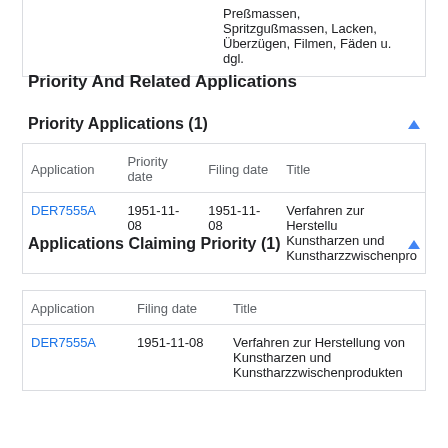Preßmassen, Spritzgußmassen, Lacken, Überzügen, Filmen, Fäden u. dgl.
Priority And Related Applications
Priority Applications (1)
| Application | Priority date | Filing date | Title |
| --- | --- | --- | --- |
| DER7555A | 1951-11-08 | 1951-11-08 | Verfahren zur Herstellung Kunstharzen und Kunstharzzwischenpro |
Applications Claiming Priority (1)
| Application | Filing date | Title |
| --- | --- | --- |
| DER7555A | 1951-11-08 | Verfahren zur Herstellung von Kunstharzen und Kunstharzzwischenprodukten |